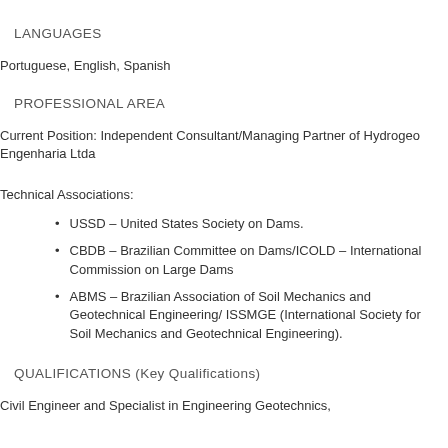Paulo), Specialization in Soil Mechanics and Foundation Engineering, Earth and Rockfill Dams, and Engineering Geology, between 1970 and 1973.
LANGUAGES
Portuguese, English, Spanish
PROFESSIONAL AREA
Current Position: Independent Consultant/Managing Partner of Hydrogeo Engenharia Ltda
Technical Associations:
USSD – United States Society on Dams.
CBDB – Brazilian Committee on Dams/ICOLD – International Commission on Large Dams
ABMS – Brazilian Association of Soil Mechanics and Geotechnical Engineering/ ISSMGE (International Society for Soil Mechanics and Geotechnical Engineering).
QUALIFICATIONS (Key Qualifications)
Civil Engineer and Specialist in Engineering Geotechnics,